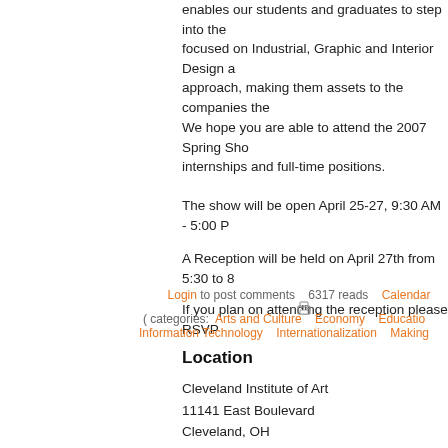enables our students and graduates to step into the focused on Industrial, Graphic and Interior Design a approach, making them assets to the companies the
We hope you are able to attend the 2007 Spring Sho internships and full-time positions.
The show will be open April 25-27, 9:30 AM - 5:00 P
A Reception will be held on April 27th from 5:30 to 8
If you plan on attending the reception please RSVP
Location
Cleveland Institute of Art
11141 East Boulevard
Cleveland, OH
United States
See map: Google Maps
Login to post comments    6317 reads    Calendar
( categories:  Arts and Culture   Economy   Education   Information Technology   Internationalization   Making